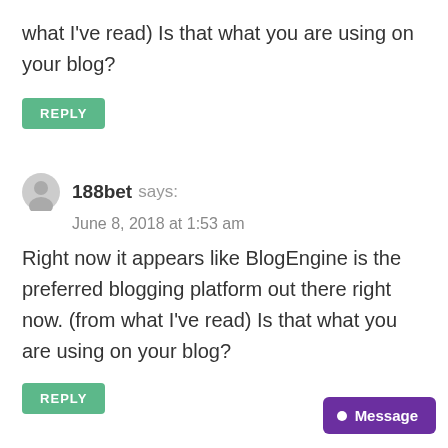what I've read) Is that what you are using on your blog?
REPLY
188bet says:
June 8, 2018 at 1:53 am
Right now it appears like BlogEngine is the preferred blogging platform out there right now. (from what I've read) Is that what you are using on your blog?
REPLY
188bet says:
Message